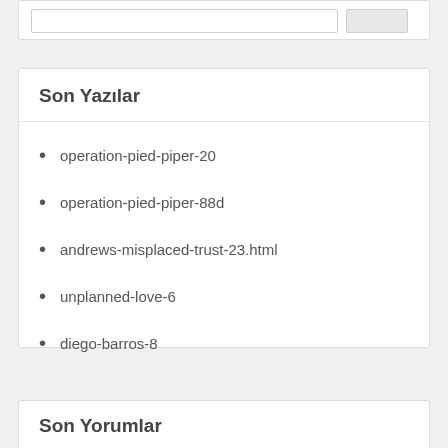Son Yazılar
operation-pied-piper-20
operation-pied-piper-88d
andrews-misplaced-trust-23.html
unplanned-love-6
diego-barros-8
Son Yorumlar